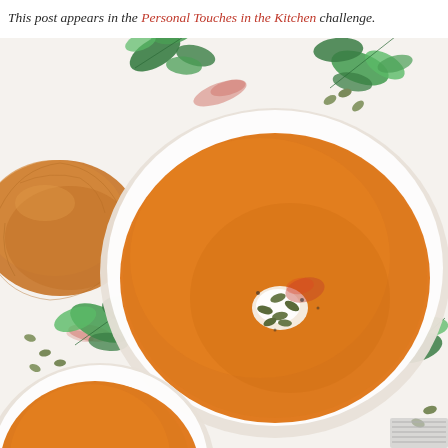This post appears in the Personal Touches in the Kitchen challenge.
[Figure (photo): Overhead view of two white bowls of creamy orange pumpkin/butternut squash soup garnished with a dollop of sour cream, pumpkin seeds, and red spice. Beside the bowls is a rustic bread roll, fresh cilantro leaves, scattered pumpkin seeds, and red spice powder on a white background.]